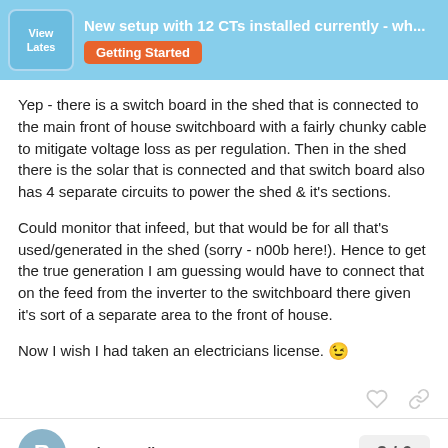New setup with 12 CTs installed currently - wh... | Getting Started
Yep - there is a switch board in the shed that is connected to the main front of house switchboard with a fairly chunky cable to mitigate voltage loss as per regulation. Then in the shed there is the solar that is connected and that switch board also has 4 separate circuits to power the shed & it's sections.
Could monitor that infeed, but that would be for all that's used/generated in the shed (sorry - n00b here!). Hence to get the true generation I am guessing would have to connect that on the feed from the inverter to the switchboard there given it's sort of a separate area to the front of house.
Now I wish I had taken an electricians license. 😉
Robert.Wall 🛡 | 3 / 6